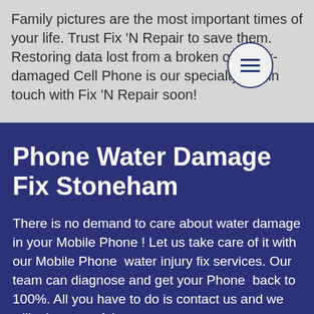Family pictures are the most important times of your life. Trust Fix 'N Repair to save them. Restoring data lost from a broken or water-damaged Cell Phone is our specialty.Get in touch with Fix 'N Repair soon!
[Figure (other): Hamburger menu button icon — three horizontal lines inside a circle]
Phone Water Damage Fix Stoneham
There is no demand to care about water damage in your Mobile Phone ! Let us take care of it with our Mobile Phone  water injury fix services. Our team can diagnose and get your Phone  back to 100%. All you have to do is contact us and we will take care of the rest.